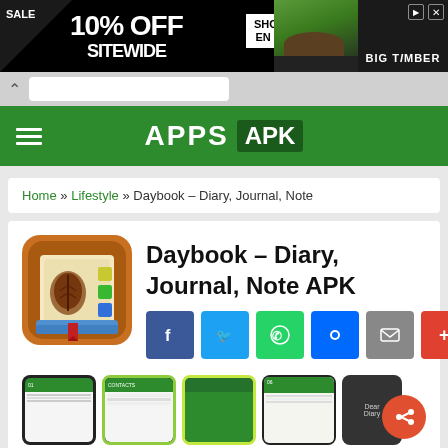[Figure (screenshot): Advertisement banner: black background, SALE triangle, 10% OFF SITEWIDE text, SHOP NOW button, ENDS 8/31, Big Timber brand with gazebo photo]
[Figure (screenshot): Mobile browser URL bar with back caret]
[Figure (screenshot): APPS APK website navigation bar in green with hamburger menu]
Home » Lifestyle » Daybook – Diary, Journal, Note
Daybook – Diary, Journal, Note APK
[Figure (screenshot): App screenshots row showing Daybook diary app interface on multiple phone screens]